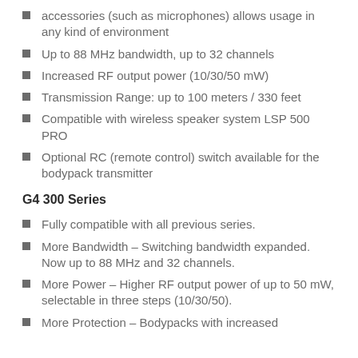accessories (such as microphones) allows usage in any kind of environment
Up to 88 MHz bandwidth, up to 32 channels
Increased RF output power (10/30/50 mW)
Transmission Range: up to 100 meters / 330 feet
Compatible with wireless speaker system LSP 500 PRO
Optional RC (remote control) switch available for the bodypack transmitter
G4 300 Series
Fully compatible with all previous series.
More Bandwidth – Switching bandwidth expanded. Now up to 88 MHz and 32 channels.
More Power – Higher RF output power of up to 50 mW, selectable in three steps (10/30/50).
More Protection – Bodypacks with increased